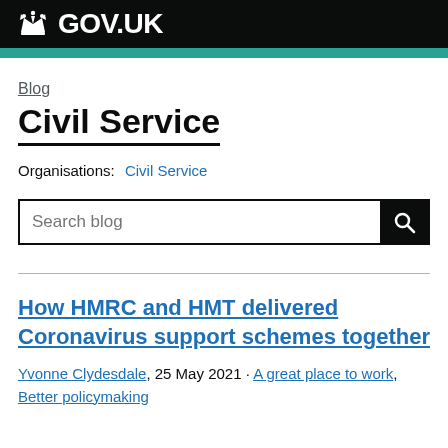GOV.UK
Blog
Civil Service
Organisations: Civil Service
Search blog
How HMRC and HMT delivered Coronavirus support schemes together
Yvonne Clydesdale, 25 May 2021 · A great place to work, Better policymaking